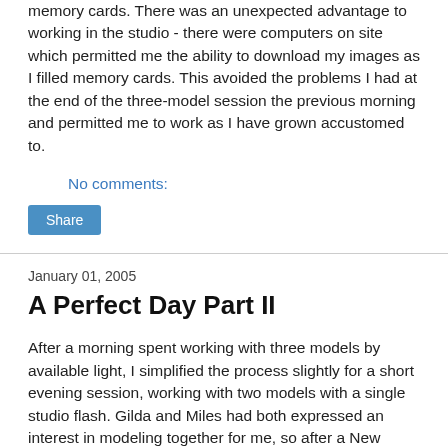memory cards. There was an unexpected advantage to working in the studio - there were computers on site which permitted me the ability to download my images as I filled memory cards. This avoided the problems I had at the end of the three-model session the previous morning and permitted me to work as I have grown accustomed to.
No comments:
Share
January 01, 2005
A Perfect Day Part II
After a morning spent working with three models by available light, I simplified the process slightly for a short evening session, working with two models with a single studio flash. Gilda and Miles had both expressed an interest in modeling together for me, so after a New Year's Day dinner with my family, I met up with the two models and turned the guest room at Miranda's into a makeshift studio